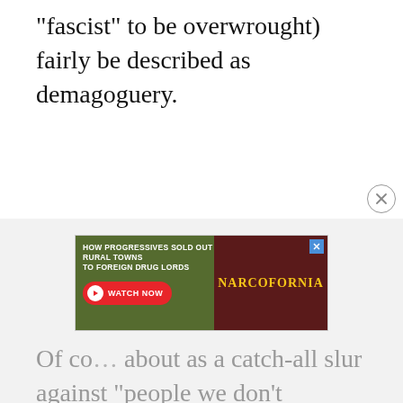“fascist” to be overwrought) fairly be described as demagoguery.
[Figure (other): Advertisement banner for 'Narcofornia' video: 'HOW PROGRESSIVES SOLD OUT RURAL TOWNS TO FOREIGN DRUG LORDS' with a WATCH NOW button, displayed over a cannabis leaf background with the Narcofornia logo on the right side. A close (X) button appears above the banner.]
Of co… about as a catch-all slur against “people we don’t